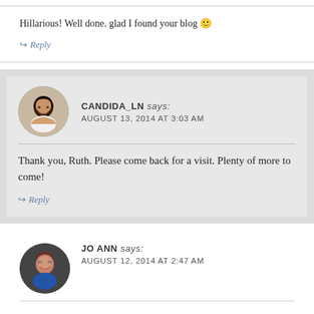Hillarious! Well done. glad I found your blog 🙂
↪ Reply
CANDIDA_LN says: AUGUST 13, 2014 AT 3:03 AM
Thank you, Ruth. Please come back for a visit. Plenty of more to come!
↪ Reply
JO ANN says: AUGUST 12, 2014 AT 2:47 AM